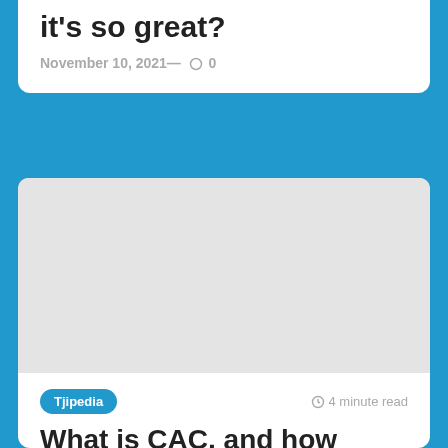it's so great?
November 10, 2021— 0
[Figure (photo): Article image placeholder (light gray rectangle)]
Tjipedia   4 minute read
What is CAC, and how